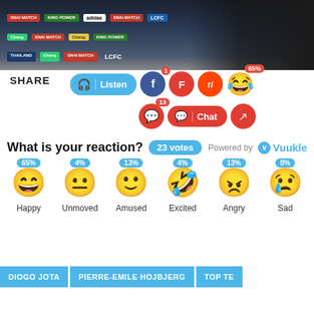[Figure (photo): Sports press conference background with sponsor banners including adidas, King Power, LCFC, Chang, Thailand, SNAI MATCH logos. Partial view of a person in dark suit.]
SHARE
[Figure (infographic): Share buttons row: Listen (blue pill), Facebook (blue circle, badge 1), Flipboard (red circle), Reddit (orange circle), laughing emoji with 65% badge. Second row: comment button with badge 13, Chat button (red pill), Share icon (red circle).]
What is your reaction? 23 votes   Powered by Vuukle
[Figure (infographic): Six emoji reaction icons with percentage badges: Happy 65%, Unmoved 4%, Amused 13%, Excited 4%, Angry 13%, Sad 0%]
DIOGO JOTA
PIERRE-EMILE HOJBJERG
TOP TE